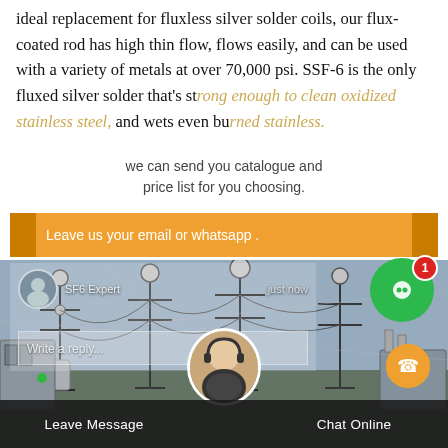ideal replacement for fluxless silver solder coils, our flux-coated rod has high thin flow, flows easily, and can be used with a variety of metals at over 70,000 psi. SSF-6 is the only fluxed silver solder that's strong enough to clean oxidized stainless steel, and wets even burned stainless.
[Figure (screenshot): Chat popup overlay showing 'we can send you catalogue and price list for you choosing.' with orange bar saying 'Leave us your email or whatsapp .' and a live chat widget showing SF6 Expert, just now, Write a reply... overlaid on an electrical substation photo. Green chat button with badge '1' visible. Bottom bar with Leave Message and Chat Online.]